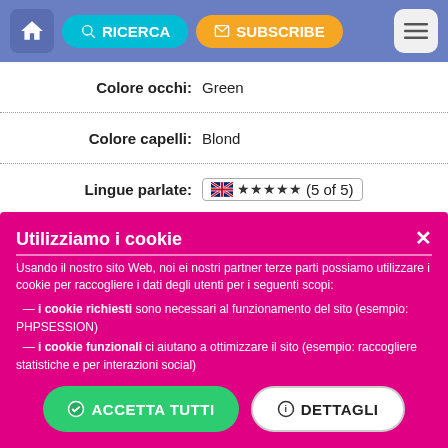RICERCA | SUBSCRIBE
| Label | Value |
| --- | --- |
| Colore occhi: | Green |
| Colore capelli: | Blond |
| Lingue parlate: | ★★★★★ (5 of 5) |
| Educazione: | University |
| Professione: | tourist agent |
Interessi:
In my free time I like reading, going to the cinema or being on nature looking at the sea, like riding a bicycle, roller-skating, swimming in the summer, skiing in winter.
Utilizzamo i cookie — Usando il nostro sito Web, noi ei nostri partner terze parti possiamo utilizzare i cookie per raccogliere i dati degli utenti per i seguenti scopi: — i cookie richiesti sono necessari al funzionamento del sito (esempio: PHPSESSION) — i cookie funzionali ci aiutano a ottimizzare il sito (esempio: raccogliere statistiche e per interazioni social)